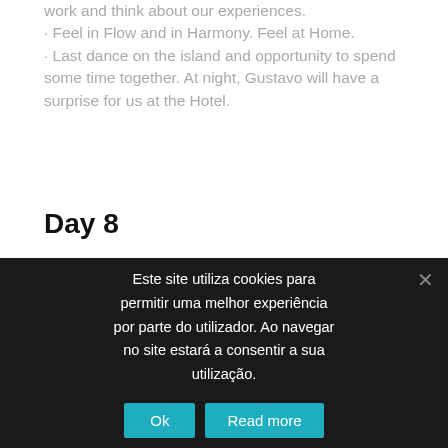work and think about our experiences. · Feel in Flow and in Harmony. Feel at Home. · Last dance on the island and opportunity to spend some time together. At night, Gustavo will have a surprise for us at the Hotel.
Day 8
Este site utiliza cookies para permitir uma melhor experiência por parte do utilizador. Ao navegar no site estará a consentir a sua utilização.